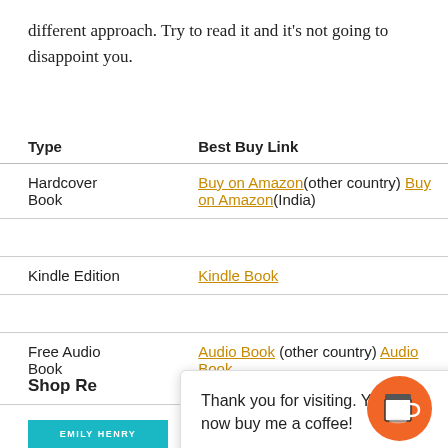different approach. Try to read it and it's not going to disappoint you.
| Type | Best Buy Link |
| --- | --- |
| Hardcover Book | Buy on Amazon(other country) Buy on Amazon(India) |
| Kindle Edition | Kindle Book |
| Free Audio Book | Audio Book (other country) Audio Book (India) |
Thank you for visiting. You can now buy me a coffee!
Shop Re